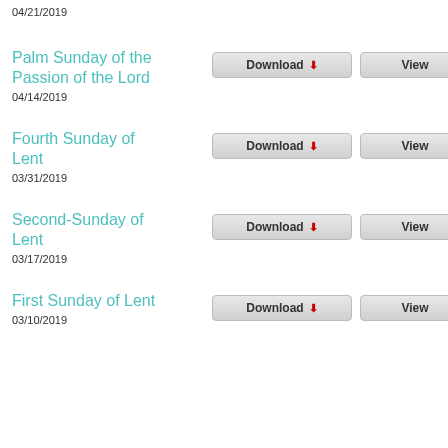04/21/2019
Palm Sunday of the Passion of the Lord
04/14/2019
Fourth Sunday of Lent
03/31/2019
Second-Sunday of Lent
03/17/2019
First Sunday of Lent
03/10/2019